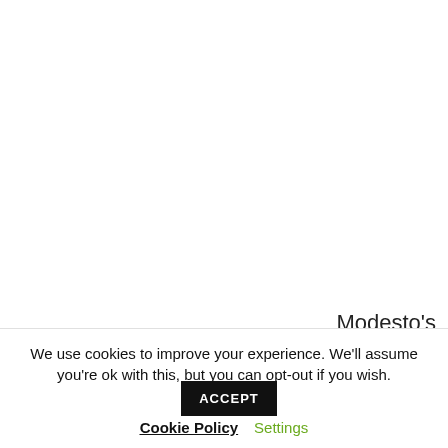[Figure (photo): Large mostly white/blank area representing a photo or image area above the caption, with the image largely out of view]
Modesto's
2013 festival of lights
We use cookies to improve your experience. We'll assume you're ok with this, but you can opt-out if you wish.
ACCEPT
Cookie Policy
Settings